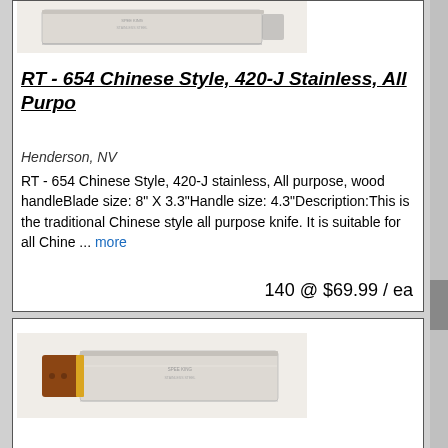[Figure (photo): Chinese style cleaver knife product image - top card, partial view at top of page]
RT - 654 Chinese Style, 420-J Stainless, All Purpo
Henderson, NV
RT - 654 Chinese Style, 420-J stainless, All purpose, wood handleBlade size: 8" X 3.3"Handle size: 4.3"Description:This is the traditional Chinese style all purpose knife. It is suitable for all Chine ... more
140 @ $69.99 / ea
[Figure (photo): Chinese style cleaver knife with wooden handle - bottom card product image]